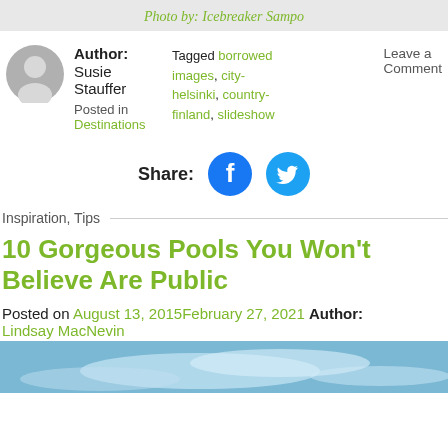Photo by: Icebreaker Sampo
Author: Susie Stauffer
Posted in Destinations
Tagged borrowed images, city-helsinki, country-finland, slideshow
Leave a Comment
Share:
Inspiration, Tips
10 Gorgeous Pools You Won't Believe Are Public
Posted on August 13, 2015February 27, 2021 Author: Lindsay MacNevin
[Figure (photo): Sky with clouds, bottom of page]